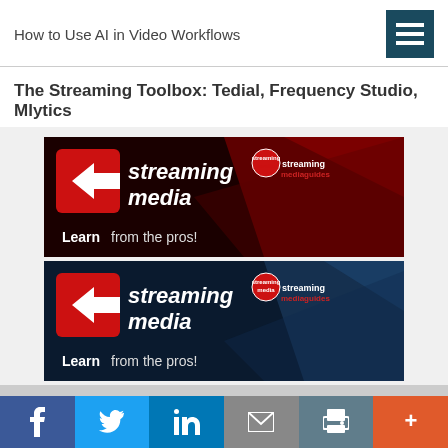How to Use AI in Video Workflows
The Streaming Toolbox: Tedial, Frequency Studio, Mlytics
[Figure (illustration): Streaming Media banner advertisement with dark red background showing 'streaming media' logo with arrow icon and 'streaming mediaguides' badge, text reads 'Learn from the pros!']
[Figure (illustration): Streaming Media banner advertisement with dark blue background showing 'streaming media' logo with arrow icon and 'streaming mediaguides' badge, text reads 'Learn from the pros!']
Facebook | Twitter | LinkedIn | Email | Print | More